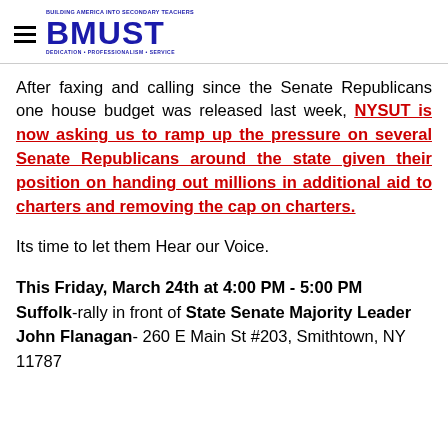BMUST — BUILDING AMERICA INTO SECONDARY TEACHERS, DEDICATION • PROFESSIONALISM • SERVICE
After faxing and calling since the Senate Republicans one house budget was released last week, NYSUT is now asking us to ramp up the pressure on several Senate Republicans around the state given their position on handing out millions in additional aid to charters and removing the cap on charters.
Its time to let them Hear our Voice.
This Friday, March 24th at 4:00 PM - 5:00 PM Suffolk-rally in front of State Senate Majority Leader John Flanagan- 260 E Main St #203, Smithtown, NY 11787